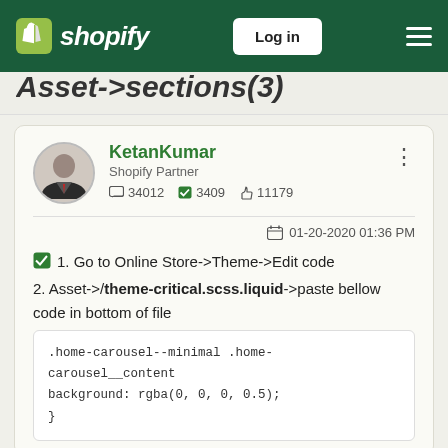Shopify — Log in
Asset->Sections(3)
KetanKumar
Shopify Partner
34012  3409  11179
01-20-2020 01:36 PM
1. Go to Online Store->Theme->Edit code
2. Asset->/theme-critical.scss.liquid->paste bellow code in bottom of file
.home-carousel--minimal .home-carousel__content
background: rgba(0, 0, 0, 0.5);
}